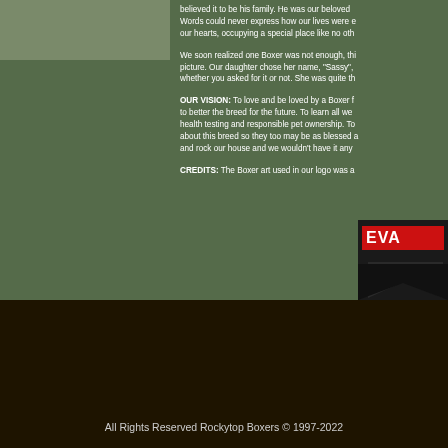[Figure (photo): Partial photo of a Boxer dog in upper left corner]
Words could never express how our lives were enriched... our hearts, occupying a special place like no other...
We soon realized one Boxer was not enough, the picture. Our daughter chose her name, "Sassy", whether you asked for it or not. She was quite th...
OUR VISION: To love and be loved by a Boxer for to better the breed for the future. To learn all we health testing and responsible pet ownership. To about this breed so they too may be as blessed and rock our house and we wouldn't have it any...
CREDITS: The Boxer art used in our logo was a...
[Figure (logo): EVA logo with red background and black chevron/arrow shape]
08
[Figure (illustration): Decorative banner or scroll illustration in tan/beige]
All Rights Reserved Rockytop Boxers © 1997-2022